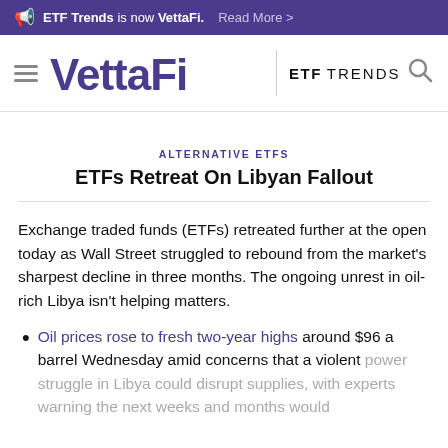ETF Trends is now VettaFi. Read More >
[Figure (logo): VettaFi logo with hamburger menu and ETF TRENDS text and search icon]
ALTERNATIVE ETFS
ETFs Retreat On Libyan Fallout
Exchange traded funds (ETFs) retreated further at the open today as Wall Street struggled to rebound from the market’s sharpest decline in three months. The ongoing unrest in oil-rich Libya isn’t helping matters.
Oil prices rose to fresh two-year highs around $96 a barrel Wednesday amid concerns that a violent power struggle in Libya could disrupt supplies, with experts warning the next weeks and months would